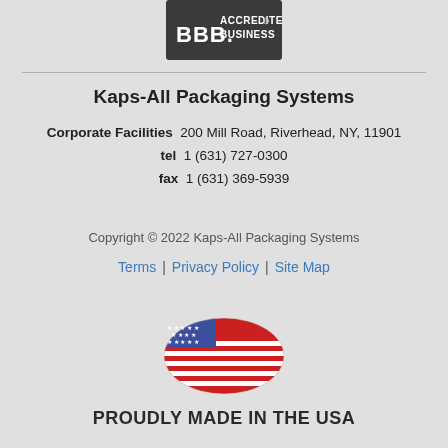[Figure (logo): BBB Accredited Business badge - dark gray background with BBB logo and 'ACCREDITED BUSINESS' text]
Kaps-All Packaging Systems
Corporate Facilities  200 Mill Road, Riverhead, NY, 11901
tel  1 (631) 727-0300
fax  1 (631) 369-5939
Copyright © 2022 Kaps-All Packaging Systems
Terms  |  Privacy Policy  |  Site Map
[Figure (illustration): Waving American flag illustration]
PROUDLY MADE IN THE USA